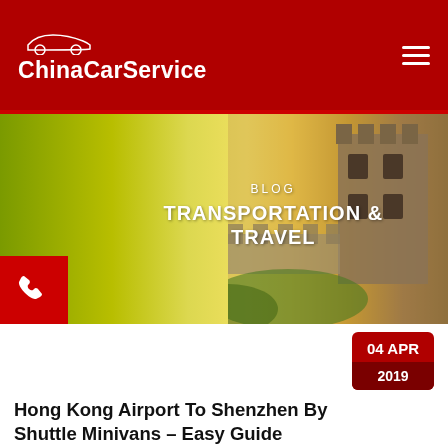ChinaCarService
[Figure (screenshot): Hero banner with olive/yellow gradient background and Great Wall tower image on right, with text BLOG / TRANSPORTATION & TRAVEL]
Hong Kong Airport To Shenzhen By Shuttle Minivans – Easy Guide
Transportation & Travel | By Anna Zheng |
No Comments
We use cookies to enhance your experience. By continuing to use our site
f  in  (Twitter bird)  (envelope)